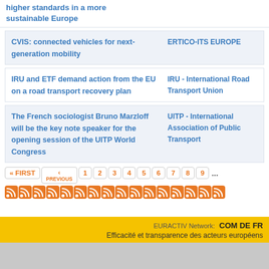higher standards in a more sustainable Europe
CVIS: connected vehicles for next-generation mobility | ERTICO-ITS EUROPE
IRU and ETF demand action from the EU on a road transport recovery plan | IRU - International Road Transport Union
The French sociologist Bruno Marzloff will be the key note speaker for the opening session of the UITP World Congress | UITP - International Association of Public Transport
EURACTIV Network: COM DE FR  Efficacité et transparence des acteurs européens